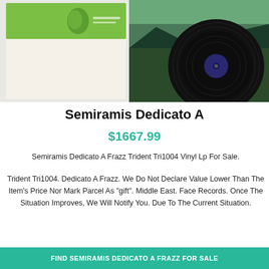[Figure (photo): Photo of vinyl LP record with album covers showing a green label and a landscape scene, with a black vinyl record visible]
Semiramis Dedicato A
$1667.99
Semiramis Dedicato A Frazz Trident Tri1004 Vinyl Lp For Sale.
Trident Tri1004. Dedicato A Frazz. We Do Not Declare Value Lower Than The Item's Price Nor Mark Parcel As "gift". Middle East. Face Records. Once The Situation Improves, We Will Notify You. Due To The Current Situation.
FIND SEMIRAMIS DEDICATO A FRAZZ FOR SALE